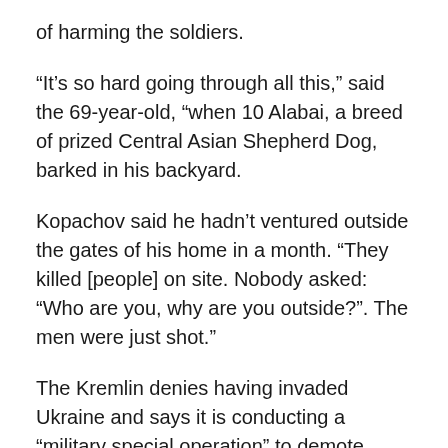of harming the soldiers.
“It’s so hard going through all this,” said the 69-year-old, “when 10 Alabai, a breed of prized Central Asian Shepherd Dog, barked in his backyard.
Kopachov said he hadn’t ventured outside the gates of his home in a month. “They killed [people] on site. Nobody asked: “Who are you, why are you outside?”. The men were just shot.”
The Kremlin denies having invaded Ukraine and says it is conducting a “military special operation” to demote Ukrainian forces, targeting military installations rather than launching attacks on civilian areas.
Ukrainian Defense Minister Oleksii Reznikov said